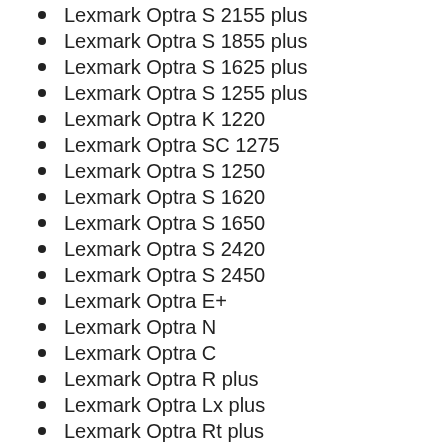Lexmark Optra S 2155 plus
Lexmark Optra S 1855 plus
Lexmark Optra S 1625 plus
Lexmark Optra S 1255 plus
Lexmark Optra K 1220
Lexmark Optra SC 1275
Lexmark Optra S 1250
Lexmark Optra S 1620
Lexmark Optra S 1650
Lexmark Optra S 2420
Lexmark Optra S 2450
Lexmark Optra E+
Lexmark Optra N
Lexmark Optra C
Lexmark Optra R plus
Lexmark Optra Lx plus
Lexmark Optra Rt plus
Lexmark Optra Lxi plus
Lexmark Optra Ep